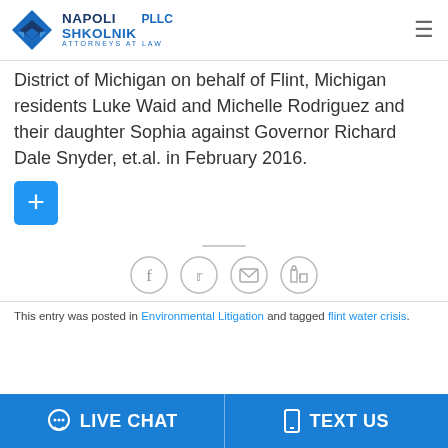Napoli Shkolnik PLLC Attorneys at Law
District of Michigan on behalf of Flint, Michigan residents Luke Waid and Michelle Rodriguez and their daughter Sophia against Governor Richard Dale Snyder, et.al. in February 2016.
[Figure (other): Blue plus/add button]
[Figure (other): Social sharing icons: Facebook, Twitter, Email, LinkedIn in gray circles]
This entry was posted in Environmental Litigation and tagged flint water crisis.
[Figure (other): Live Chat and Text Us call-to-action bar at bottom of page]